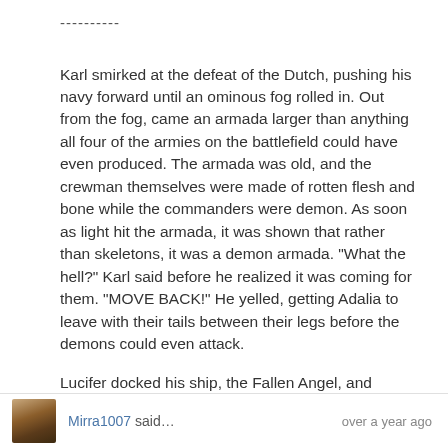----------
Karl smirked at the defeat of the Dutch, pushing his navy forward until an ominous fog rolled in. Out from the fog, came an armada larger than anything all four of the armies on the battlefield could have even produced. The armada was old, and the crewman themselves were made of rotten flesh and bone while the commanders were demon. As soon as light hit the armada, it was shown that rather than skeletons, it was a demon armada. "What the hell?" Karl said before he realized it was coming for them. "MOVE BACK!" He yelled, getting Adalia to leave with their tails between their legs before the demons could even attack.
Lucifer docked his ship, the Fallen Angel, and stepped on shore of Britain, breathing in fresh air for the first time in thousands of years. "Ah.."
Mirra1007 said…   over a year ago